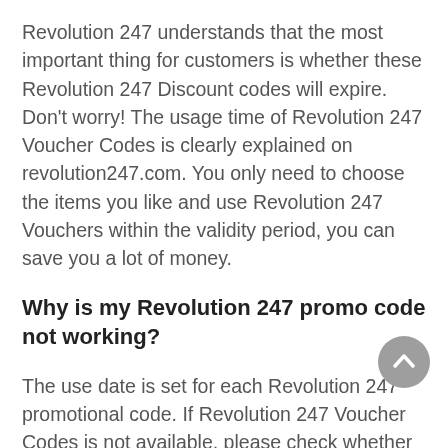Revolution 247 understands that the most important thing for customers is whether these Revolution 247 Discount codes will expire. Don't worry! The usage time of Revolution 247 Voucher Codes is clearly explained on revolution247.com. You only need to choose the items you like and use Revolution 247 Vouchers within the validity period, you can save you a lot of money.
Why is my Revolution 247 promo code not working?
The use date is set for each Revolution 247 promotional code. If Revolution 247 Voucher Codes is not available, please check whether it is invalid or has been used. For the use of Revolution 247 promo code, you may not know the detailed usage rules during checkout, please log in to the relevant page of revolution247.com to view...